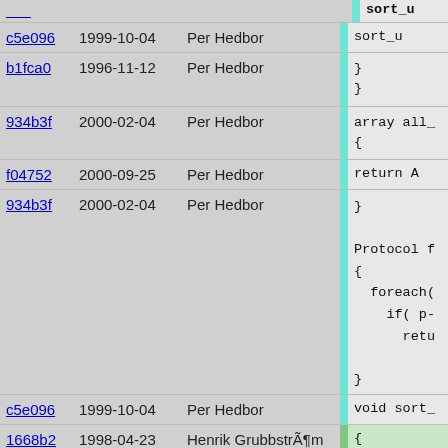| hash | date | author | stripe | code |
| --- | --- | --- | --- | --- |
| (partial top) | (partial) | (partial) |  | sort_u |
| c5e096 | 1999-10-04 | Per Hedbor | cyan | sort_u |
| b1fca0 | 1996-11-12 | Per Hedbor | cyan | } } |
| 934b3f | 2000-02-04 | Per Hedbor | cyan | array all_ { |
| f04752 | 2000-09-25 | Per Hedbor | cyan | return A |
| 934b3f | 2000-02-04 | Per Hedbor | cyan | } Protocol f { foreach( if( p- retu } |
| c5e096 | 1999-10-04 | Per Hedbor | cyan | void sort_ |
| 1668b2 | 1998-04-23 | Henrik GrubbstrÃ¶m (Grubba) | green | { |
| c5e096 | 1999-10-04 | Per Hedbor | cyan | sorted_u sort( ma |
| 1668b2 | 1998-04-23 | Henrik GrubbstrÃ¶m (Grubba) | green | } |
| d09399 | 2000-09-25 | Per Hedbor | cyan | int regist |